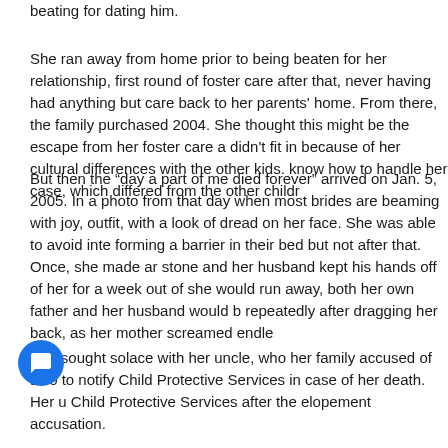beating for dating him.
She ran away from home prior to being beaten for her relationship, first round of foster care after that, never having had anything but care back to her parents' home. From there, the family purchased 2004. She thought this might be the escape from her foster care a didn't fit in because of her cultural differences with the other kids. know how to handle her case, which differed from the other childr
But then the “day a part of me died forever” arrived on Jan. 5, 2005. In a photo from that day when most brides are beaming with joy, outfit, with a look of dread on her face. She was able to avoid inte forming a barrier in their bed but not after that. Once, she made ar stone and her husband kept his hands off of her for a week out of she would run away, both her own father and her husband would b repeatedly after dragging her back, as her mother screamed endle
She sought solace with her uncle, who her family accused of also to notify Child Protective Services in case of her death. Her u Child Protective Services after the elopement accusation.